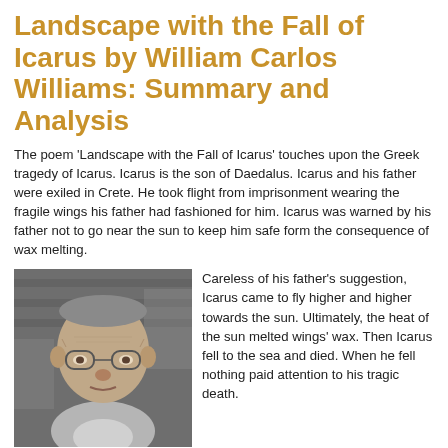Landscape with the Fall of Icarus by William Carlos Williams: Summary and Analysis
The poem 'Landscape with the Fall of Icarus' touches upon the Greek tragedy of Icarus. Icarus is the son of Daedalus. Icarus and his father were exiled in Crete. He took flight from imprisonment wearing the fragile wings his father had fashioned for him. Icarus was warned by his father not to go near the sun to keep him safe form the consequence of wax melting.
[Figure (photo): Black and white portrait photograph of William C. Williams, an elderly man wearing glasses, with bookshelves in the background.]
William C. Williams
Careless of his father's suggestion, Icarus came to fly higher and higher towards the sun. Ultimately, the heat of the sun melted wings' wax. Then Icarus fell to the sea and died. When he fell nothing paid attention to his tragic death.